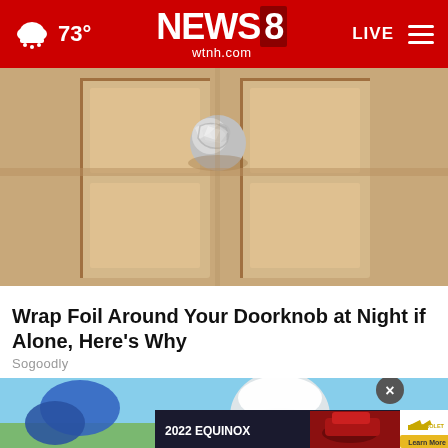73° NEWS 8 wtnh.com LIVE
[Figure (photo): Close-up photo of a wooden door with aluminum foil wrapped around the door knob]
Wrap Foil Around Your Doorknob at Night if Alone, Here's Why
Sogoodly
[Figure (photo): Photo of a person wearing blue gloves and a white cap, with a blue sky background; an advertisement overlay at the bottom shows a 2022 Chevrolet Equinox with 'Learn More' button]